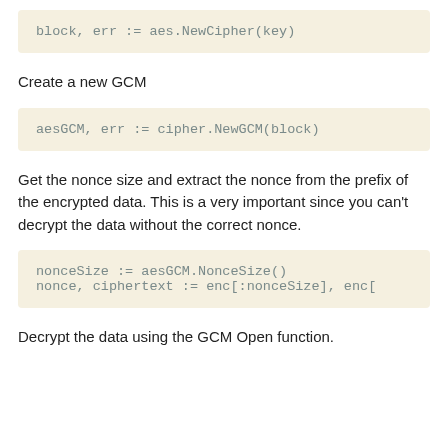block, err := aes.NewCipher(key)
Create a new GCM
aesGCM, err := cipher.NewGCM(block)
Get the nonce size and extract the nonce from the prefix of the encrypted data. This is a very important since you can't decrypt the data without the correct nonce.
nonceSize := aesGCM.NonceSize()
nonce, ciphertext := enc[:nonceSize], enc[
Decrypt the data using the GCM Open function.